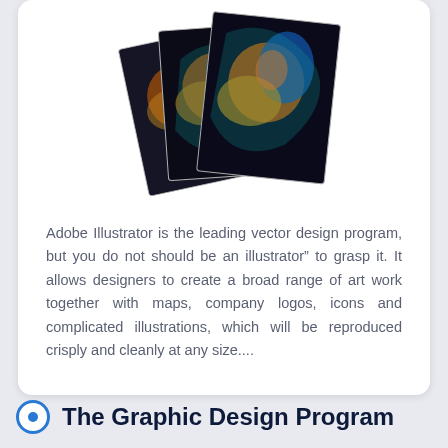[Figure (illustration): Three overlapping photo prints fanned out, each showing a colorful abstract/artistic image with orange, blue, and teal tones on a dark background.]
Adobe Illustrator is the leading vector design program, but you do not should be an illustrator” to grasp it. It allows designers to create a broad range of art work together with maps, company logos, icons and complicated illustrations, which will be reproduced crisply and cleanly at any size....
The Graphic Design Program
[Figure (photo): A blue-tinted photo, partially visible, appears to show a person or figure.]
By  completing